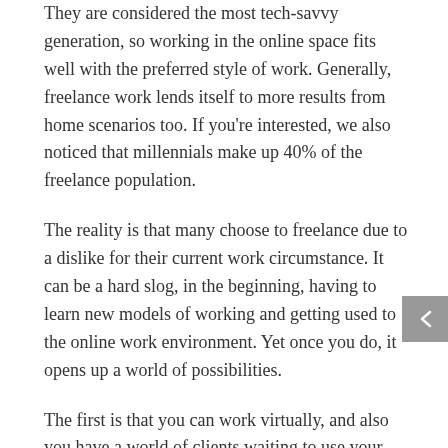They are considered the most tech-savvy generation, so working in the online space fits well with the preferred style of work. Generally, freelance work lends itself to more results from home scenarios too. If you're interested, we also noticed that millennials make up 40% of the freelance population.
The reality is that many choose to freelance due to a dislike for their current work circumstance. It can be a hard slog, in the beginning, having to learn new models of working and getting used to the online work environment. Yet once you do, it opens up a world of possibilities.
The first is that you can work virtually, and also you have a world of clients waiting to use your services to build their projects. That's the main reason that 64% of people have seen that they have better work opportunities because of freelancing.
The trend we're noticing is that Freelancers tend to